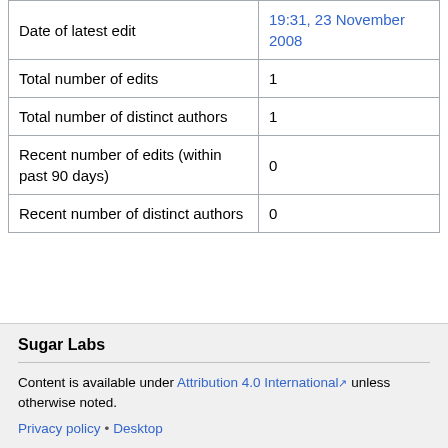|  |  |
| --- | --- |
| Date of latest edit | 19:31, 23 November 2008 |
| Total number of edits | 1 |
| Total number of distinct authors | 1 |
| Recent number of edits (within past 90 days) | 0 |
| Recent number of distinct authors | 0 |
Sugar Labs
Content is available under Attribution 4.0 International ↗ unless otherwise noted.
Privacy policy • Desktop